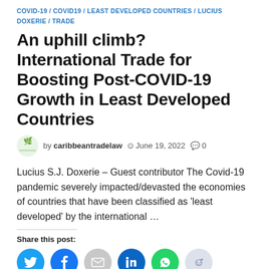COVID-19 / COVID19 / LEAST DEVELOPED COUNTRIES / LUCIUS DOXERIE / TRADE
An uphill climb?  International Trade for Boosting Post-COVID-19 Growth in Least Developed Countries
by caribbeantradelaw  June 19, 2022  0
Lucius S.J. Doxerie – Guest contributor The Covid-19 pandemic severely impacted/devasted the economies of countries that have been classified as 'least developed' by the international …
Share this post:
[Figure (infographic): Six social media share buttons: Twitter (blue), Facebook (blue), Email (grey), LinkedIn (dark blue), WhatsApp (green), Reddit (light grey)]
Like this: